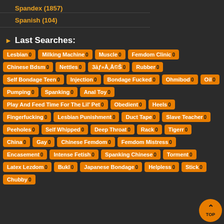Spandex (1857)
Spanish (104)
Last Searches:
Lesbian 0
Milking Machine 0
Muscle 0
Femdom Clinic 0
Chinese Bdsm 0
Nettles 0
3āƒ»Å¸Å©Š 0
Rubber 0
Self Bondage Teen 0
Injection 0
Bondage Fucked 0
Ohmibod 0
Oil 0
Pumping 0
Spanking 0
Anal Toy 0
Play And Feed Time For The Lil' Pet 0
Obedient 0
Heels 0
Fingerfucking 0
Lesbian Punishment 0
Duct Tape 0
Slave Teacher 0
Peeholes 0
Self Whipped 0
Deep Throat 0
Rack 0
Tigerr 0
China 0
Gay 0
Chinese Femdom 0
Femdom Mistress 0
Encasement 0
Intense Fetish 0
Spanking Chinese 0
Torment 0
Latex Lezdom 0
Bukl 0
Japanese Bondage 0
Helpless 0
Stick 0
Chubby 0